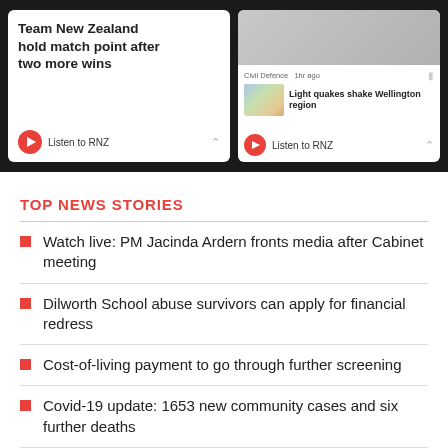[Figure (screenshot): Two smartphone screenshots of RNZ news app. Left screen shows headline 'Team New Zealand hold match point after two more wins' with Listen to RNZ bar. Right screen shows Civil Defence story with 'Light quakes shake Wellington region' news card with map thumbnail.]
TOP NEWS STORIES
Watch live: PM Jacinda Ardern fronts media after Cabinet meeting
Dilworth School abuse survivors can apply for financial redress
Cost-of-living payment to go through further screening
Covid-19 update: 1653 new community cases and six further deaths
Auckland explosion: Two people remain in critical